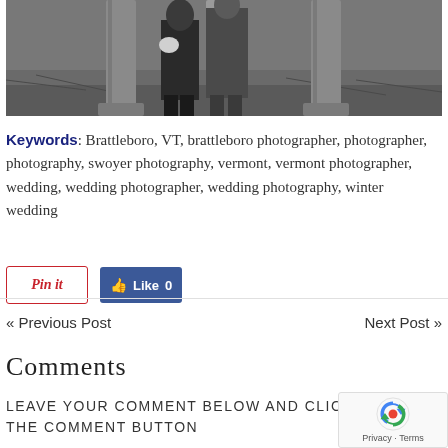[Figure (photo): Black and white photograph showing a couple standing outdoors near wooden posts/pillars on grass, the person on the left holds flowers]
Keywords: Brattleboro, VT, brattleboro photographer, photographer, photography, swoyer photography, vermont, vermont photographer, wedding, wedding photographer, wedding photography, winter wedding
[Figure (infographic): Pinterest 'Pinit' button and Facebook 'Like 0' button]
« Previous Post   Next Post »
Comments
Leave your comment below and click the Comment button